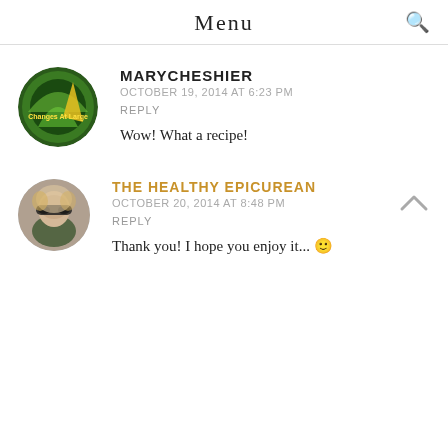Menu
MARYCHESHIER
OCTOBER 19, 2014 AT 6:23 PM
REPLY
Wow! What a recipe!
THE HEALTHY EPICUREAN
OCTOBER 20, 2014 AT 8:48 PM
REPLY
Thank you! I hope you enjoy it... 🙂